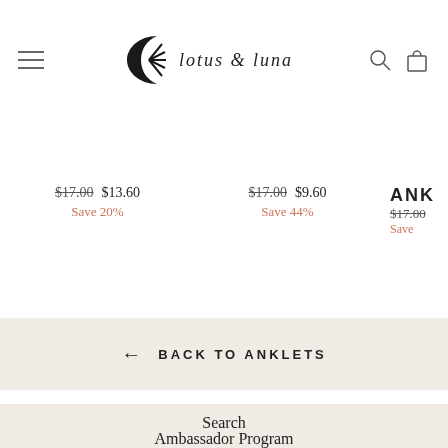lotus & luna — navigation header with hamburger menu, logo, search and cart icons
$17.00 $13.60 Save 20%
$17.00 $9.60 Save 44%
ANK $17.00 Save
← BACK TO ANKLETS
Search
Ambassador Program
Help Cen...